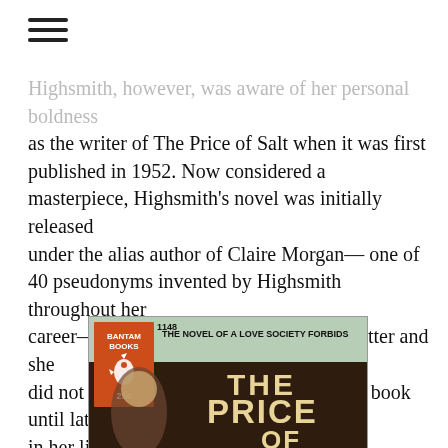Highsmith, however, was aware of her personal boldness as the writer of The Price of Salt when it was first published in 1952. Now considered a masterpiece, Highsmith's novel was initially released under the alias author of Claire Morgan— one of 40 pseudonyms invented by Highsmith throughout her career— due to its homosexual subject matter and she did not publicly associate herself with this book until late in her life. Her other novels adapted for screenplays include: The Talented Mr. Ripley (1955), Ripley's Game (1974) and Edith's Diary (1977); which all became films.
[Figure (photo): Book cover of 'The Price of Salt' (Bantam Books, #1148). Orange Bantam Books badge on left showing rooster logo and 25¢ price. Tagline reads 'THE NOVEL OF A LOVE SOCIETY FORBIDS'. Dark background with large cream/gold lettering reading 'THE PRICE OF' with a woman's silhouette.]